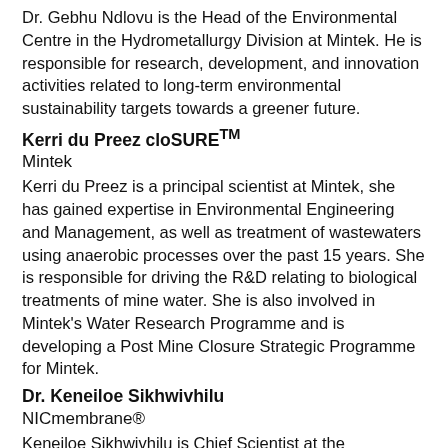Dr. Gebhu Ndlovu is the Head of the Environmental Centre in the Hydrometallurgy Division at Mintek. He is responsible for research, development, and innovation activities related to long-term environmental sustainability targets towards a greener future.
Kerri du Preez cloSURETM
Mintek
Kerri du Preez is a principal scientist at Mintek, she has gained expertise in Environmental Engineering and Management, as well as treatment of wastewaters using anaerobic processes over the past 15 years. She is responsible for driving the R&D relating to biological treatments of mine water. She is also involved in Mintek's Water Research Programme and is developing a Post Mine Closure Strategic Programme for Mintek.
Dr. Keneiloe Sikhwivhilu
NICmembrane®
Keneiloe Sikhwivhilu is Chief Scientist at the